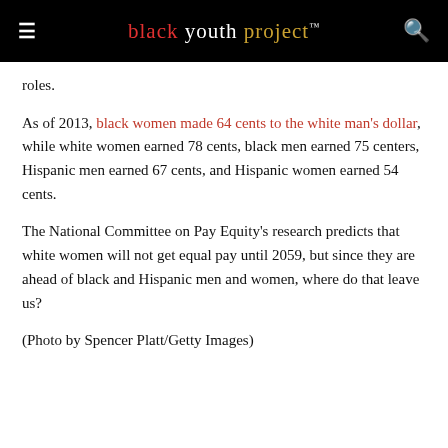black youth project™
roles.
As of 2013, black women made 64 cents to the white man's dollar, while white women earned 78 cents, black men earned 75 centers, Hispanic men earned 67 cents, and Hispanic women earned 54 cents.
The National Committee on Pay Equity's research predicts that white women will not get equal pay until 2059, but since they are ahead of black and Hispanic men and women, where do that leave us?
(Photo by Spencer Platt/Getty Images)